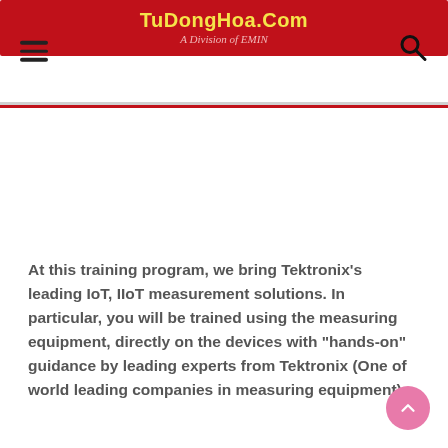TuDongHoa.Com — A Division of EMIN
At this training program, we bring Tektronix's leading IoT, IIoT measurement solutions. In particular, you will be trained using the measuring equipment, directly on the devices with "hands-on" guidance by leading experts from Tektronix (One of world leading companies in measuring equipment).